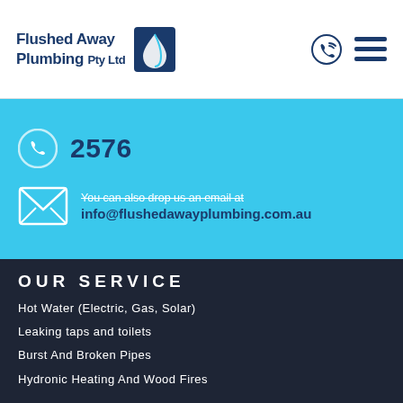Flushed Away Plumbing Pty Ltd
2576
You can also drop us an email at
info@flushedawayplumbing.com.au
OUR SERVICE
Hot Water (Electric, Gas, Solar)
Leaking taps and toilets
Burst And Broken Pipes
Hydronic Heating And Wood Fires